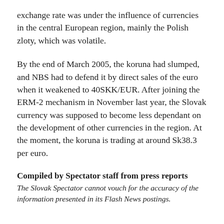exchange rate was under the influence of currencies in the central European region, mainly the Polish zloty, which was volatile.
By the end of March 2005, the koruna had slumped, and NBS had to defend it by direct sales of the euro when it weakened to 40SKK/EUR. After joining the ERM-2 mechanism in November last year, the Slovak currency was supposed to become less dependant on the development of other currencies in the region. At the moment, the koruna is trading at around Sk38.3 per euro.
Compiled by Spectator staff from press reports
The Slovak Spectator cannot vouch for the accuracy of the information presented in its Flash News postings.